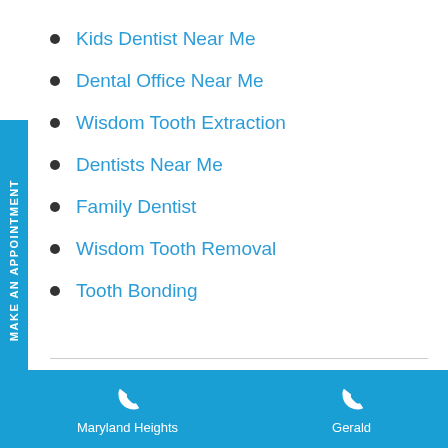Kids Dentist Near Me
Dental Office Near Me
Wisdom Tooth Extraction
Dentists Near Me
Family Dentist
Wisdom Tooth Removal
Tooth Bonding
Get Professional Teeth
Maryland Heights   Gerald